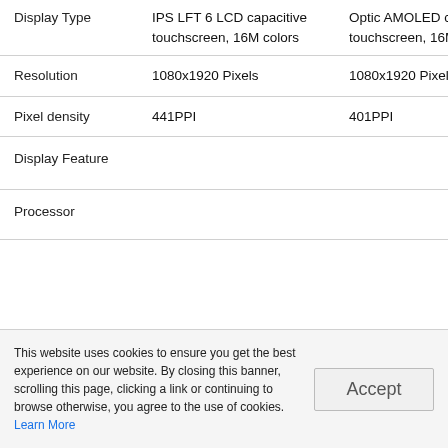|  | Column 1 | Column 2 |
| --- | --- | --- |
| Display Type | IPS LFT 6 LCD capacitive touchscreen, 16M colors | Optic AMOLED capacitive touchscreen, 16M colors |
| Resolution | 1080x1920 Pixels | 1080x1920 Pixels |
| Pixel density | 441PPI | 401PPI |
| Display Feature |  |  |
| Processor |  |  |
This website uses cookies to ensure you get the best experience on our website. By closing this banner, scrolling this page, clicking a link or continuing to browse otherwise, you agree to the use of cookies. Learn More